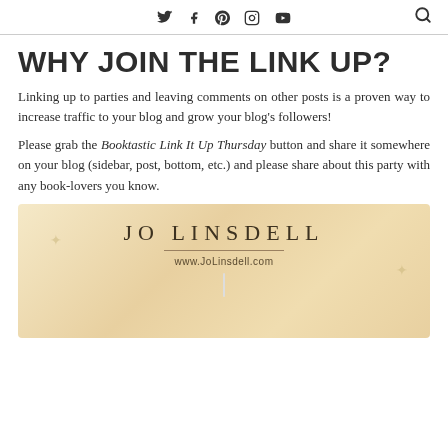Social icons: Twitter, Facebook, Pinterest, Instagram, YouTube; Search icon
WHY JOIN THE LINK UP?
Linking up to parties and leaving comments on other posts is a proven way to increase traffic to your blog and grow your blog's followers!
Please grab the Booktastic Link It Up Thursday button and share it somewhere on your blog (sidebar, post, bottom, etc.) and please share about this party with any book-lovers you know.
[Figure (illustration): Jo Linsdell branded card/button with golden gradient background, text 'JO LINSDELL' in large spaced letters, a horizontal divider line, and URL www.JoLinsdell.com below]